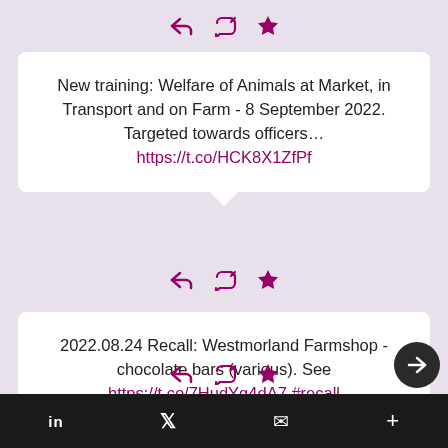[Figure (screenshot): Three action icons: reply, retweet, star/favorite — in magenta/purple color]
New training: Welfare of Animals at Market, in Transport and on Farm - 8 September 2022. Targeted towards officers… https://t.co/HCK8X1ZfPf
[Figure (screenshot): Three action icons: reply, retweet, star/favorite — in magenta/purple color]
2022.08.24 Recall: Westmorland Farmshop - chocolate bars (various). See https://t.co/7HudYg4dA7 #recall https://t.co/M9WljQEJEr
[Figure (screenshot): Three action icons: reply, retweet, star/favorite — in magenta/purple color (partially visible at bottom)]
in  𝕏  ✉  +